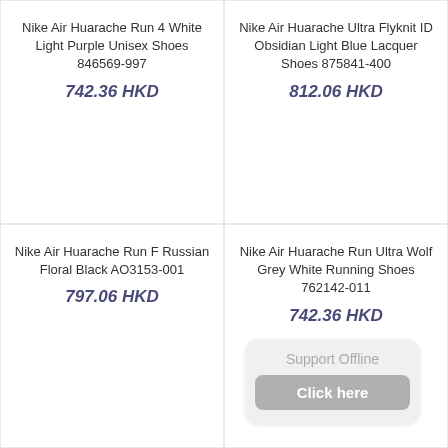Nike Air Huarache Run 4 White Light Purple Unisex Shoes 846569-997
742.36 HKD
Nike Air Huarache Ultra Flyknit ID Obsidian Light Blue Lacquer Shoes 875841-400
812.06 HKD
Nike Air Huarache Run F Russian Floral Black AO3153-001
797.06 HKD
Nike Air Huarache Run Ultra Wolf Grey White Running Shoes 762142-011
742.36 HKD
Support Offline
Click here